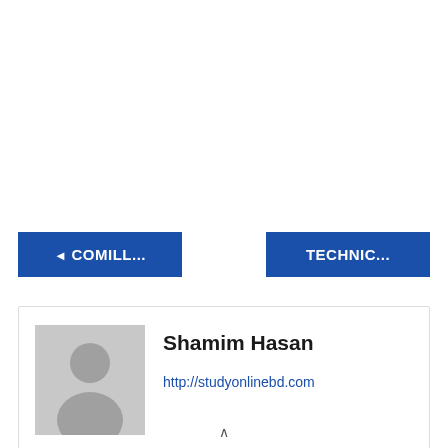◄ COMILL...
TECHNIC...
[Figure (photo): Author avatar placeholder: gray silhouette of a person on gray background]
Shamim Hasan
http://studyonlinebd.com